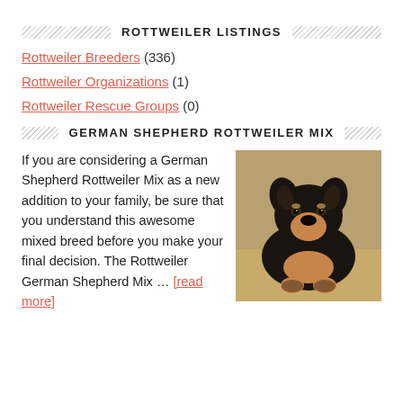ROTTWEILER LISTINGS
Rottweiler Breeders (336)
Rottweiler Organizations (1)
Rottweiler Rescue Groups (0)
GERMAN SHEPHERD ROTTWEILER MIX
If you are considering a German Shepherd Rottweiler Mix as a new addition to your family, be sure that you understand this awesome mixed breed before you make your final decision. The Rottweiler German Shepherd Mix … [read more]
[Figure (photo): A black and tan German Shepherd Rottweiler mix puppy sitting and looking at the camera, photographed outdoors on dry grass/dirt ground.]